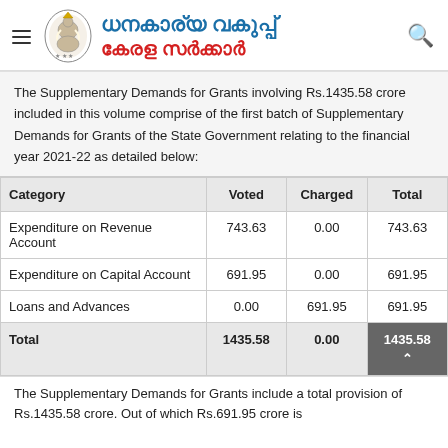ധനകാര്യ വകുപ്പ് കേരള സർക്കാർ
The Supplementary Demands for Grants involving Rs.1435.58 crore included in this volume comprise of the first batch of Supplementary Demands for Grants of the State Government relating to the financial year 2021-22 as detailed below:
| Category | Voted | Charged | Total |
| --- | --- | --- | --- |
| Expenditure on Revenue Account | 743.63 | 0.00 | 743.63 |
| Expenditure on Capital Account | 691.95 | 0.00 | 691.95 |
| Loans and Advances | 0.00 | 691.95 | 691.95 |
| Total | 1435.58 | 0.00 | 1435.58 |
The Supplementary Demands for Grants include a total provision of Rs.1435.58 crore. Out of which Rs.691.95 crore is